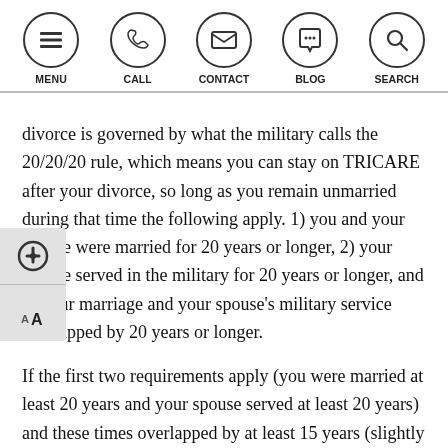MENU | CALL | CONTACT | BLOG | SEARCH
divorce is governed by what the military calls the 20/20/20 rule, which means you can stay on TRICARE after your divorce, so long as you remain unmarried during that time the following apply. 1) you and your spouse were married for 20 years or longer, 2) your spouse served in the military for 20 years or longer, and 3) your marriage and your spouse's military service overlapped by 20 years or longer.
If the first two requirements apply (you were married at least 20 years and your spouse served at least 20 years) and these times overlapped by at least 15 years (slightly less than the above requirement), you may be eligible for